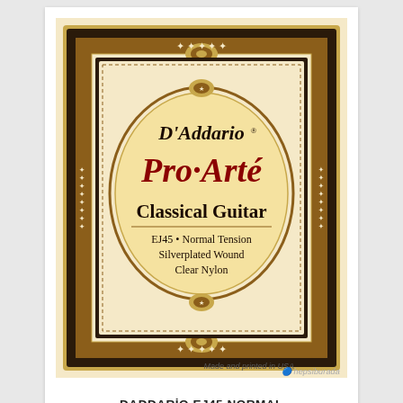[Figure (photo): D'Addario Pro-Arte Classical Guitar string package label. Cream/beige background with ornate dark border pattern. Center oval with 'D'Addario' in black serif font, 'Pro-Arte' in large red script, 'Classical Guitar' in bold black, 'EJ45 • Normal Tension / Silverplated Wound / Clear Nylon' in smaller black text. 'Made and printed in USA' at bottom right. Hepsiburada watermark at bottom right.]
DADDARİO EJ45 NORMAL TENSİON KLASİK GİTAR TAKIM TEL
D'ADDARİO KLASİK GİTAR